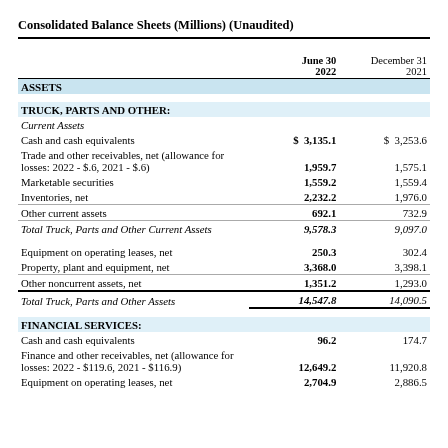Consolidated Balance Sheets (Millions) (Unaudited)
|  | June 30 2022 | December 31 2021 |
| --- | --- | --- |
| ASSETS |  |  |
| TRUCK, PARTS AND OTHER: |  |  |
| Current Assets |  |  |
| Cash and cash equivalents | $ 3,135.1 | $ 3,253.6 |
| Trade and other receivables, net (allowance for losses: 2022 - $.6, 2021 - $.6) | 1,959.7 | 1,575.1 |
| Marketable securities | 1,559.2 | 1,559.4 |
| Inventories, net | 2,232.2 | 1,976.0 |
| Other current assets | 692.1 | 732.9 |
| Total Truck, Parts and Other Current Assets | 9,578.3 | 9,097.0 |
| Equipment on operating leases, net | 250.3 | 302.4 |
| Property, plant and equipment, net | 3,368.0 | 3,398.1 |
| Other noncurrent assets, net | 1,351.2 | 1,293.0 |
| Total Truck, Parts and Other Assets | 14,547.8 | 14,090.5 |
| FINANCIAL SERVICES: |  |  |
| Cash and cash equivalents | 96.2 | 174.7 |
| Finance and other receivables, net (allowance for losses: 2022 - $119.6, 2021 - $116.9) | 12,649.2 | 11,920.8 |
| Equipment on operating leases, net | 2,704.9 | 2,886.5 |